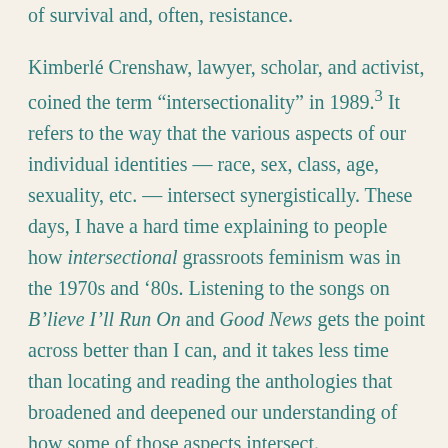of survival and, often, resistance.
Kimberlé Crenshaw, lawyer, scholar, and activist, coined the term “intersectionality” in 1989.³ It refers to the way that the various aspects of our individual identities — race, sex, class, age, sexuality, etc. — intersect synergistically. These days, I have a hard time explaining to people how intersectional grassroots feminism was in the 1970s and ‘80s. Listening to the songs on B’lieve I’ll Run On and Good News gets the point across better than I can, and it takes less time than locating and reading the anthologies that broadened and deepened our understanding of how some of those aspects intersect.